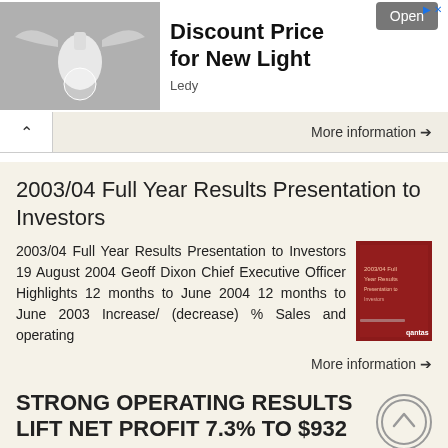[Figure (photo): Advertisement banner showing a light bulb/pendant lamp product image with wings, gray background. Ad text reads 'Discount Price for New Light' by Ledy with an Open button.]
More information →
2003/04 Full Year Results Presentation to Investors
2003/04 Full Year Results Presentation to Investors 19 August 2004 Geoff Dixon Chief Executive Officer Highlights 12 months to June 2004 12 months to June 2003 Increase/ (decrease) % Sales and operating
[Figure (photo): Thumbnail image of a red presentation cover document]
More information →
STRONG OPERATING RESULTS LIFT NET PROFIT 7.3% TO $932 MILLION